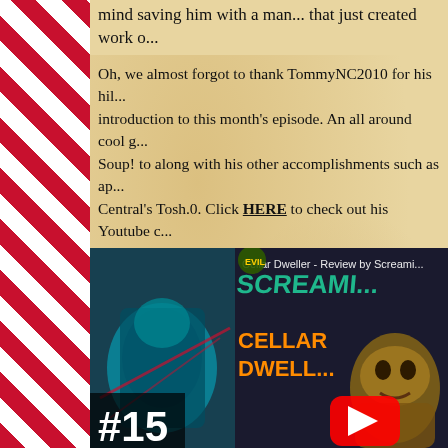mind saving him with a man... that just created work o...
Oh, we almost forgot to thank TommyNC2010 for his hil... introduction to this month's episode. An all around cool g... Soup! to along with his other accomplishments such as ap... Central's Tosh.0. Click HERE to check out his Youtube c...
Other than that, be sure you're caught up on the rest of So... social buttons in the upper right corner of the site and foll... Youtube channel, like our Facebook, watch and share all ... coming.
That's pretty much it for now, so I'll see ya' later Scream...
[Figure (screenshot): Video thumbnail showing 'Cellar Dweller - Review by Screami...' with #15 badge, comic book cover and monster character, YouTube play button overlay]